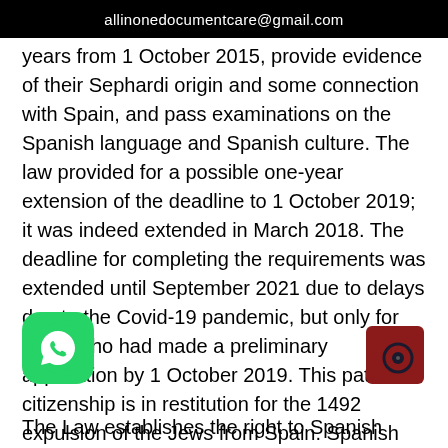allinonedocumentcare@gmail.com
years from 1 October 2015, provide evidence of their Sephardi origin and some connection with Spain, and pass examinations on the Spanish language and Spanish culture. The law provided for a possible one-year extension of the deadline to 1 October 2019; it was indeed extended in March 2018. The deadline for completing the requirements was extended until September 2021 due to delays due to the Covid-19 pandemic, but only for those who had made a preliminary application by 1 October 2019. This path to citizenship is in restitution for the 1492 expulsion of the Jews from Spain. Spanish passports for sale rkey.
The Law establishes the right to Spanish